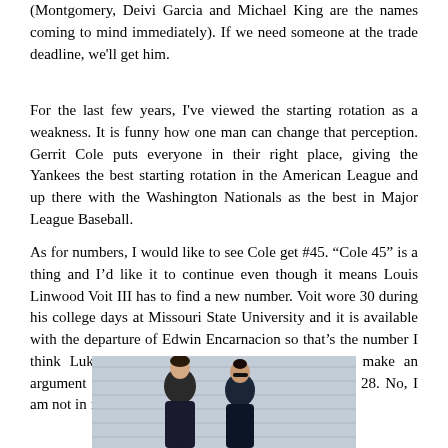(Montgomery, Deivi Garcia and Michael King are the names coming to mind immediately). If we need someone at the trade deadline, we'll get him.
For the last few years, I've viewed the starting rotation as a weakness. It is funny how one man can change that perception. Gerrit Cole puts everyone in their right place, giving the Yankees the best starting rotation in the American League and up there with the Washington Nationals as the best in Major League Baseball.
As for numbers, I would like to see Cole get #45. “Cole 45” is a thing and I’d like it to continue even though it means Louis Linwood Voit III has to find a new number. Voit wore 30 during his college days at Missouri State University and it is available with the departure of Edwin Encarnacion so that’s the number I think Luke should grab. But you could certainly make an argument for other numbers freshly open, like 22 or 28. No, I am not in favor of 69 like many Yankee fans.
[Figure (photo): Two men standing side by side, photographed outdoors against a brick wall background. Both are wearing casual clothing.]